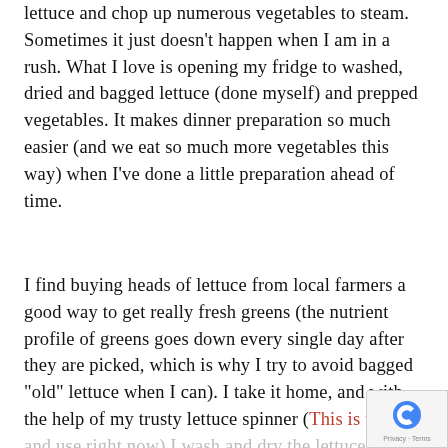lettuce and chop up numerous vegetables to steam. Sometimes it just doesn't happen when I am in a rush. What I love is opening my fridge to washed, dried and bagged lettuce (done myself) and prepped vegetables. It makes dinner preparation so much easier (and we eat so much more vegetables this way) when I've done a little preparation ahead of time.
I find buying heads of lettuce from local farmers a good way to get really fresh greens (the nutrient profile of greens goes down every single day after they are picked, which is why I try to avoid bagged "old" lettuce when I can). I take it home, and with the help of my trusty lettuce spinner (This is the one and use right now) I wash and dry the lettuce an then bag it. If you steam or stir fry vegetables, prep